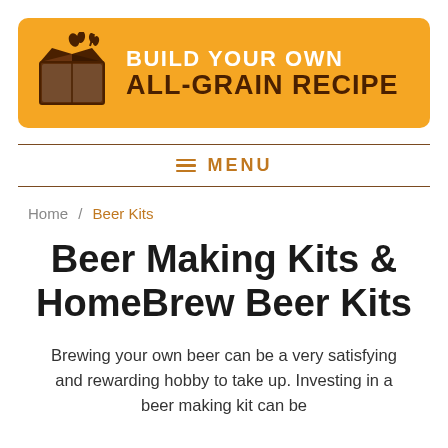[Figure (logo): Orange banner with a box icon and hops/grain illustration. Text reads BUILD YOUR OWN on top line in white, ALL-GRAIN RECIPE on bottom line in dark brown, on an orange rounded rectangle background.]
≡ MENU
Home / Beer Kits
Beer Making Kits & HomeBrew Beer Kits
Brewing your own beer can be a very satisfying and rewarding hobby to take up. Investing in a beer making kit can be